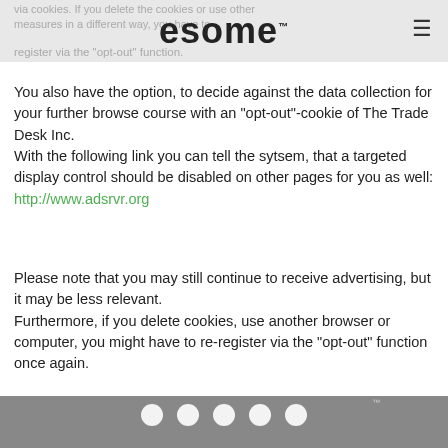esome™
via cookies. If you delete the cookies or use other measures in a different way, you have to register via the "opt-out" function.
You also have the option, to decide against the data collection for your further browse course with an "opt-out"-cookie of The Trade Desk Inc.
With the following link you can tell the sytsem, that a targeted display control should be disabled on other pages for you as well: http://www.adsrvr.org
Please note that you may still continue to receive advertising, but it may be less relevant.
Furthermore, if you delete cookies, use another browser or computer, you might have to re-register via the "opt-out" function once again.